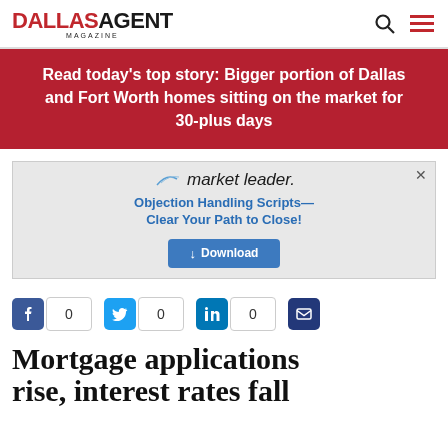DALLASAGENT MAGAZINE
Read today's top story: Bigger portion of Dallas and Fort Worth homes sitting on the market for 30-plus days
[Figure (other): Market Leader advertisement: Objection Handling Scripts—Clear Your Path to Close! Download button.]
0  0  0
Mortgage applications rise, interest rates fall